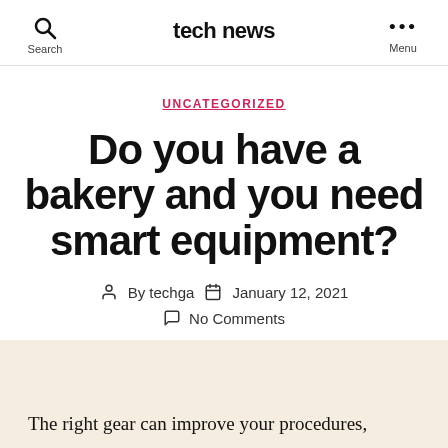tech news
UNCATEGORIZED
Do you have a bakery and you need smart equipment?
By techga   January 12, 2021   No Comments
The right gear can improve your procedures,